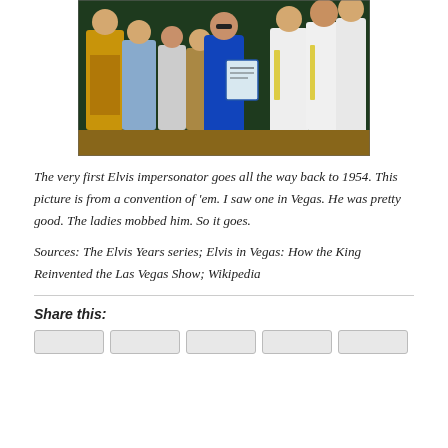[Figure (photo): Group photo of multiple Elvis Presley impersonators in sequined jumpsuits (gold, blue, white) posing together, one holding a framed certificate (likely Guinness World Record), at what appears to be a convention.]
The very first Elvis impersonator goes all the way back to 1954. This picture is from a convention of 'em. I saw one in Vegas. He was pretty good. The ladies mobbed him. So it goes.
Sources: The Elvis Years series; Elvis in Vegas: How the King Reinvented the Las Vegas Show; Wikipedia
Share this: